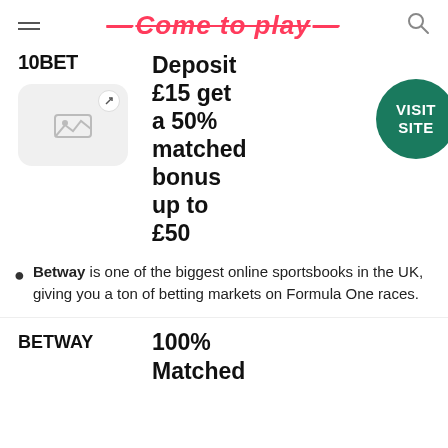Come to play
10BET
Deposit £15 get a 50% matched bonus up to £50
[Figure (logo): 10BET logo placeholder image box with expand icon]
VISIT SITE
Betway is one of the biggest online sportsbooks in the UK, giving you a ton of betting markets on Formula One races.
BETWAY
100% Matched